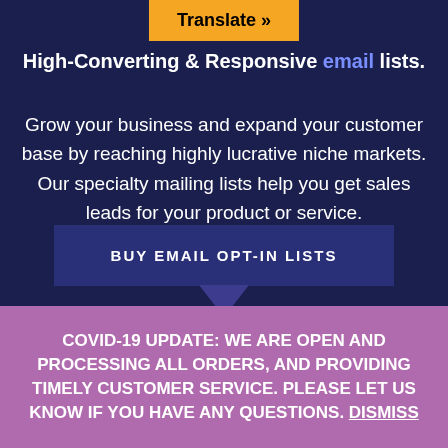Translate » High-Converting & Responsive email lists.
Grow your business and expand your customer base by reaching highly lucrative niche markets. Our specialty mailing lists help you get sales leads for your product or service.
BUY EMAIL OPT-IN LISTS
COVID-19 UPDATE: WE ARE OPEN AND PROCESSING ALL ORDERS, AND PROVIDING TIMELY CUSTOMER SERVICE. PLEASE LET US KNOW IF YOU HAVE ANY QUESTIONS. Dismiss